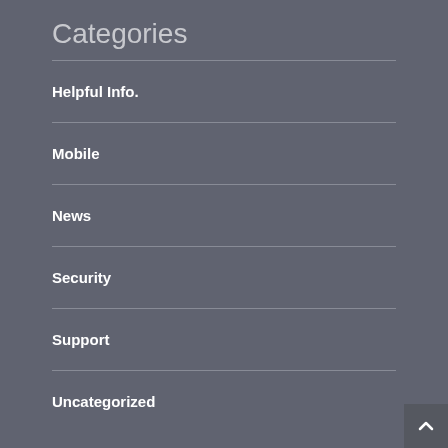Categories
Helpful Info.
Mobile
News
Security
Support
Uncategorized